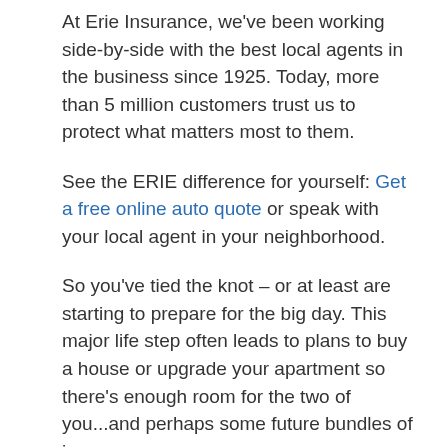At Erie Insurance, we've been working side-by-side with the best local agents in the business since 1925. Today, more than 5 million customers trust us to protect what matters most to them.
See the ERIE difference for yourself: Get a free online auto quote or speak with your local agent in your neighborhood.
So you've tied the knot – or at least are starting to prepare for the big day. This major life step often leads to plans to buy a house or upgrade your apartment so there's enough room for the two of you...and perhaps some future bundles of joy.